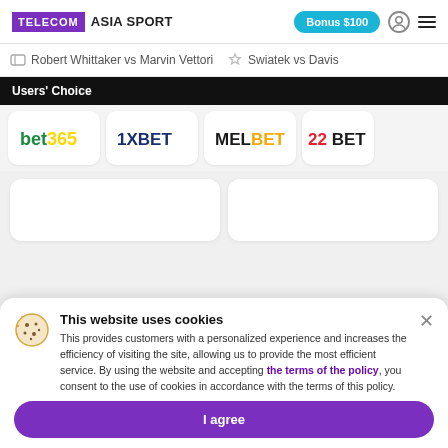TELECOM ASIA SPORT — Bonus $100
Robert Whittaker vs Marvin Vettori   ☆ Swiatek vs Davis
Users' Choice
[Figure (logo): Bookmaker logos: bet365, 1XBET, MELBET, 22BET]
This website uses cookies
This provides customers with a personalized experience and increases the efficiency of visiting the site, allowing us to provide the most efficient service. By using the website and accepting the terms of the policy, you consent to the use of cookies in accordance with the terms of this policy.
I agree